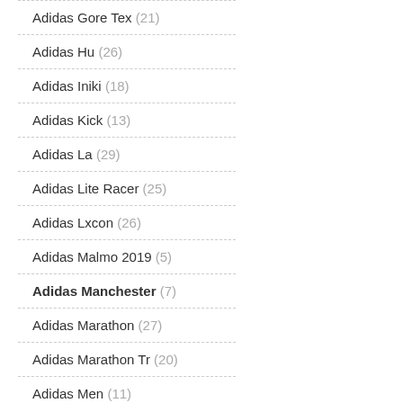Adidas Gore Tex (21)
Adidas Hu (26)
Adidas Iniki (18)
Adidas Kick (13)
Adidas La (29)
Adidas Lite Racer (25)
Adidas Lxcon (26)
Adidas Malmo 2019 (5)
Adidas Manchester (7)
Adidas Marathon (27)
Adidas Marathon Tr (20)
Adidas Men (11)
Adidas Nemeziz 19.3 (23)
Adidas Neo (21)
Adidas Night Jogger (24)